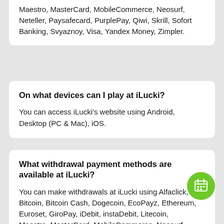Maestro, MasterCard, MobileCommerce, Neosurf, Neteller, Paysafecard, PurplePay, Qiwi, Skrill, Sofort Banking, Svyaznoy, Visa, Yandex Money, Zimpler.
On what devices can I play at iLucki?
You can access iLucki's website using Android, Desktop (PC & Mac), iOS.
What withdrawal payment methods are available at iLucki?
You can make withdrawals at iLucki using Alfaclick, Bitcoin, Bitcoin Cash, Dogecoin, EcoPayz, Ethereum, Euroset, GiroPay, iDebit, instaDebit, Litecoin, Maestro, MasterCard, MobileCommerce, Neosurf, Neteller, PaySafeCard, PurplePay, QIWI, Skrill, Sofort, Svyaznoy, Visa, Yandex Money, Zimpler.
What currencies can I use at iLucki?